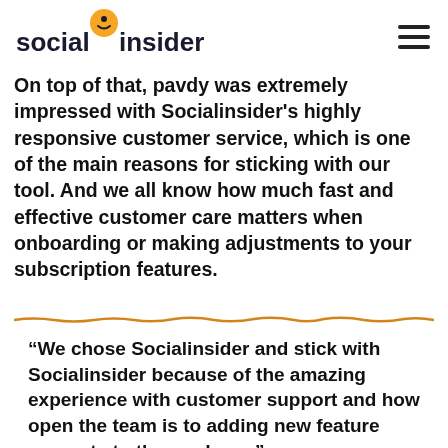socialinsider
On top of that, pavdy was extremely impressed with Socialinsider's highly responsive customer service, which is one of the main reasons for sticking with our tool. And we all know how much fast and effective customer care matters when onboarding or making adjustments to your subscription features.
[Figure (other): Decorative orange horizontal squiggly line divider]
“We chose Socialinsider and stick with Socialinsider because of the amazing experience with customer support and how open the team is to adding new feature requests to the roadmap.”